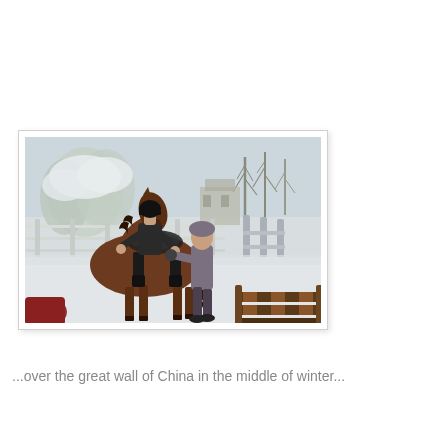[Figure (photo): A person wearing dark riding attire and a helmet sits on a brown horse in a snowy outdoor riding enclosure. Another person stands beside the horse, reaching toward it. Snow-covered trees and a fence are visible in the background. A dark partial figure appears at the lower left. Wooden jump equipment is visible at the lower right.]
...over the great wall of China in the middle of winter...